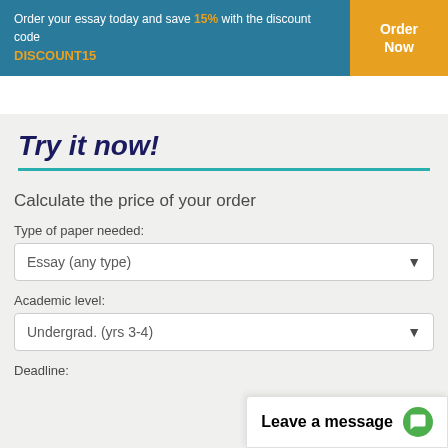Order your essay today and save 15% with the discount code DISCOUNT15
Try it now!
Calculate the price of your order
Type of paper needed:
Essay (any type)
Academic level:
Undergrad. (yrs 3-4)
Deadline:
Leave a message